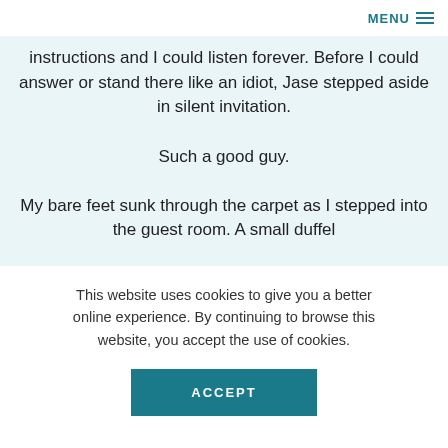MENU
instructions and I could listen forever. Before I could answer or stand there like an idiot, Jase stepped aside in silent invitation.

Such a good guy.

My bare feet sunk through the carpet as I stepped into the guest room. A small duffel
This website uses cookies to give you a better online experience. By continuing to browse this website, you accept the use of cookies.
ACCEPT